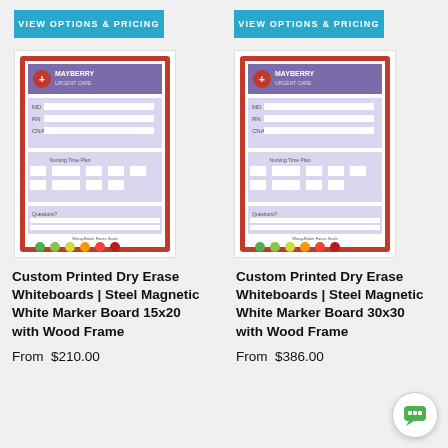VIEW OPTIONS & PRICING
VIEW OPTIONS & PRICING
[Figure (illustration): Miniature whiteboard product image showing Mayberry Urgent Care custom printed dry erase whiteboard with medical form fields and pain scale dots]
Custom Printed Dry Erase Whiteboards | Steel Magnetic White Marker Board 15x20 with Wood Frame
From  $210.00
[Figure (illustration): Miniature whiteboard product image showing Mayberry Urgent Care custom printed dry erase whiteboard with medical form fields and pain scale dots]
Custom Printed Dry Erase Whiteboards | Steel Magnetic White Marker Board 30x30 with Wood Frame
From  $386.00